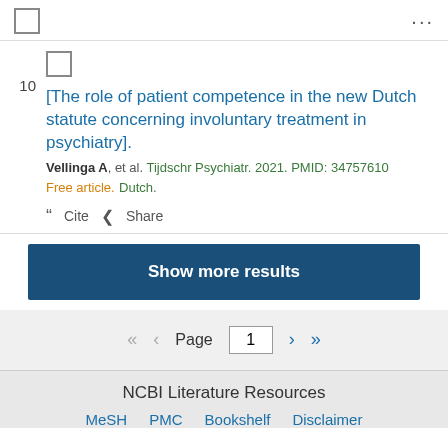...
[The role of patient competence in the new Dutch statute concerning involuntary treatment in psychiatry]. Vellinga A, et al. Tijdschr Psychiatr. 2021. PMID: 34757610 Free article. Dutch.
Cite   Share
Show more results
Page 1
NCBI Literature Resources MeSH PMC Bookshelf Disclaimer